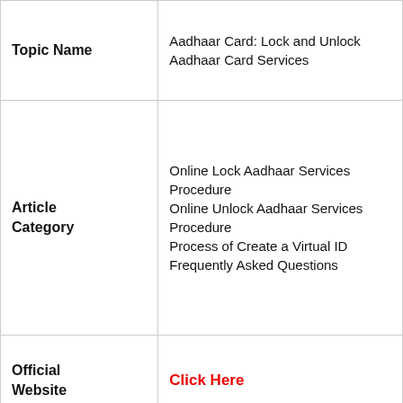| Topic Name | Aadhaar Card: Lock and Unlock Aadhaar Card Services |
| Article Category | Online Lock Aadhaar Services Procedure
Online Unlock Aadhaar Services Procedure
Process of Create a Virtual ID
Frequently Asked Questions |
| Official Website | Click Here |
| Aadhaar Services on SMS | Click Here |